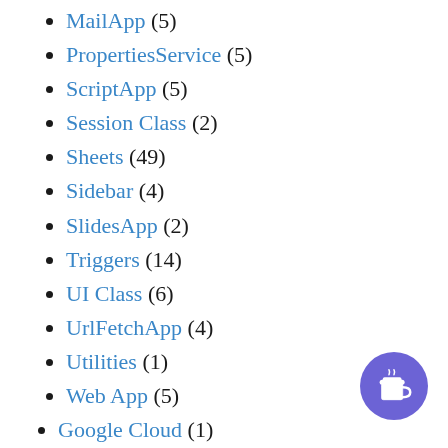MailApp (5)
PropertiesService (5)
ScriptApp (5)
Session Class (2)
Sheets (49)
Sidebar (4)
SlidesApp (2)
Triggers (14)
UI Class (6)
UrlFetchApp (4)
Utilities (1)
Web App (5)
Google Cloud (1)
Service Accounts (1)
Javascript (12)
Python (8)